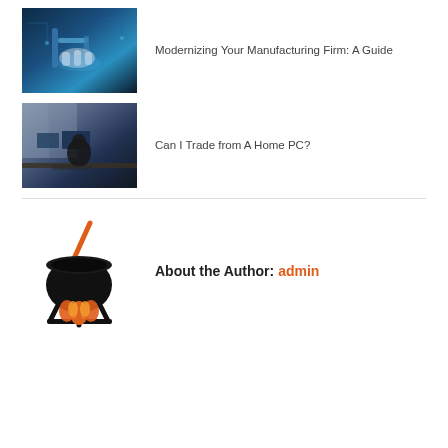[Figure (photo): Industrial/manufacturing tech image with blue tones, robotic arm and hand]
Modernizing Your Manufacturing Firm: A Guide
[Figure (photo): Trading desk/home PC setup with dark tones]
Can I Trade from A Home PC?
[Figure (illustration): Black cauldron with orange flames logo, with an orange stirring stick]
About the Author: admin